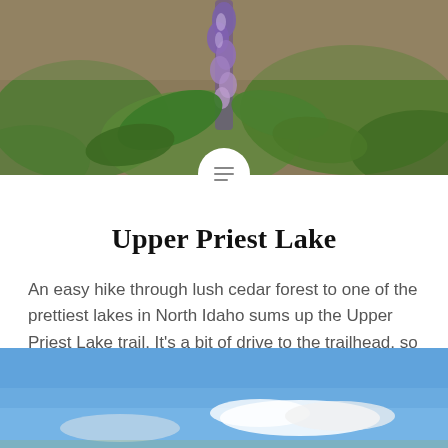[Figure (photo): Close-up photo of purple lupine flowers with green leaves against a dirt/forest background]
Upper Priest Lake
An easy hike through lush cedar forest to one of the prettiest lakes in North Idaho sums up the Upper Priest Lake trail. It's a bit of drive to the trailhead, so consider combining the hike with other opportunities in this area, such as the American Falls trail.
[Figure (photo): Blue sky with white clouds, partial landscape photo at bottom of page]